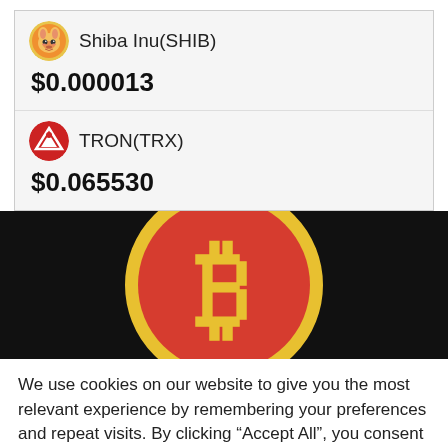Shiba Inu(SHIB)
$0.000013
TRON(TRX)
$0.065530
[Figure (logo): Bitcoin logo — red circle with yellow border and yellow B symbol on dark black banner background]
We use cookies on our website to give you the most relevant experience by remembering your preferences and repeat visits. By clicking “Accept All”, you consent to the use of ALL the cookies. However, you may visit "Cookie Settings" to provide a controlled consent.
Cookie Settings
Accept All